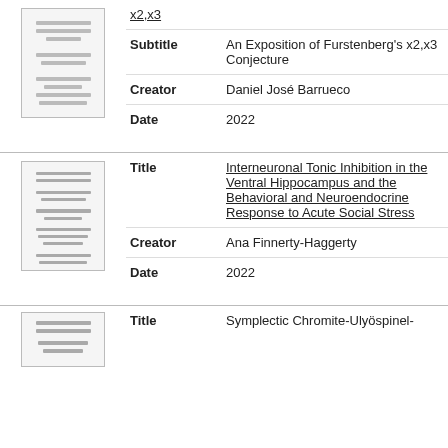x2,x3
Subtitle: An Exposition of Furstenberg's x2,x3 Conjecture
Creator: Daniel José Barrueco
Date: 2022
Title: Interneuronal Tonic Inhibition in the Ventral Hippocampus and the Behavioral and Neuroendocrine Response to Acute Social Stress
Creator: Ana Finnerty-Haggerty
Date: 2022
Title: Symplectic Chromite-Ulyöspinel-